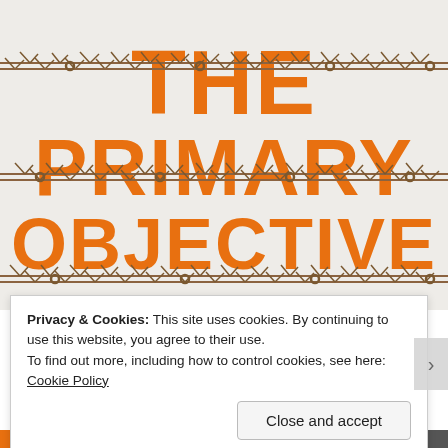[Figure (illustration): Book cover for 'The Primary Objective' featuring large bold orange uppercase text on a light gray background with three horizontal barbed wire strands crossing the text.]
Privacy & Cookies: This site uses cookies. By continuing to use this website, you agree to their use.
To find out more, including how to control cookies, see here: Cookie Policy
Close and accept